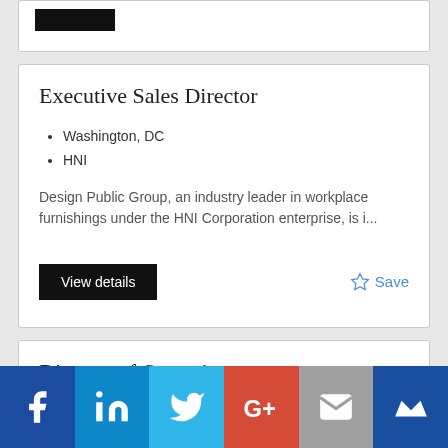[Figure (logo): Black rectangular logo bar (partially cropped)]
Executive Sales Director
Washington, DC
HNI
Design Public Group, an industry leader in workplace furnishings under the HNI Corporation enterprise, is i...
View details
Save
Director of Operations
Washington, DC
[Figure (infographic): Social media sharing bar with Facebook, LinkedIn, Twitter, Google+, Email, and Mightybell icons]